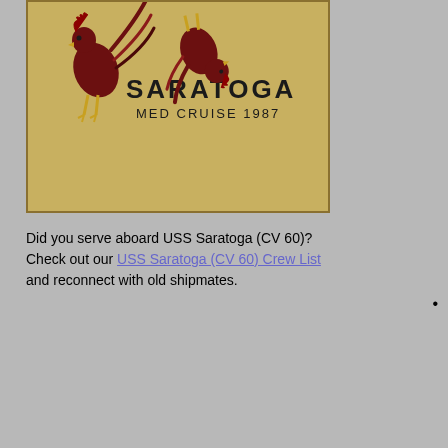[Figure (photo): Book cover of 'Saratoga MED CRUISE 1987' with rooster/fighting cock illustrations on a tan leather-textured background]
Did you serve aboard USS Saratoga (CV 60)? Check out our USS Saratoga (CV 60) Crew List and reconnect with old shipmates.
•